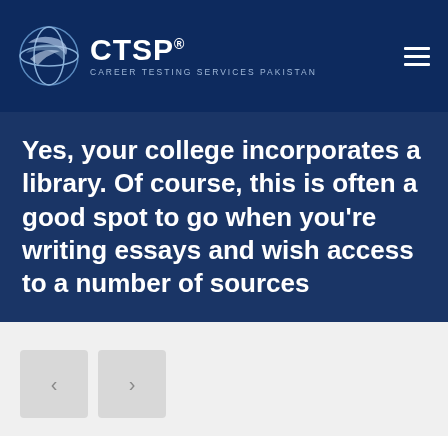[Figure (logo): CTSP Career Testing Services Pakistan logo with globe icon]
Yes, your college incorporates a library. Of course, this is often a good spot to go when you’re writing essays and wish access to a number of sources
[Figure (other): Navigation previous and next arrow buttons]
Yes, your college incorporates a library. Of course, this is often a good spot to go when you’re writing essays and